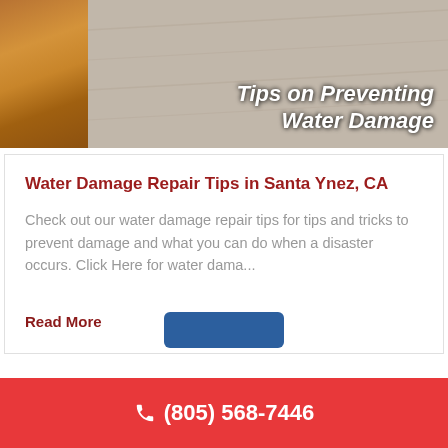[Figure (photo): Hero image showing carpeted stairs with wooden banister/railing, with overlaid text 'Tips on Preventing Water Damage']
Water Damage Repair Tips in Santa Ynez, CA
Check out our water damage repair tips for tips and tricks to prevent damage and what you can do when a disaster occurs. Click Here for water dama...
Read More
(805) 568-7446